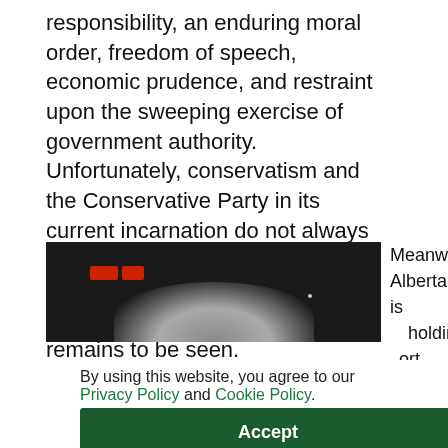responsibility, an enduring moral order, freedom of speech, economic prudence, and restraint upon the sweeping exercise of government authority. Unfortunately, conservatism and the Conservative Party in its current incarnation do not always speak the same language. Whether O'Toole represents an answer to the Party's dilemma remains to be seen.
[Figure (photo): Dark photograph showing a person's head/silhouette with red indicator lights visible in background]
Meanwhile, Alberta is holding ort the t is e first living
By using this website, you agree to our Privacy Policy and Cookie Policy.
Accept
[Figure (photo): Partial bottom photograph showing a person]
living